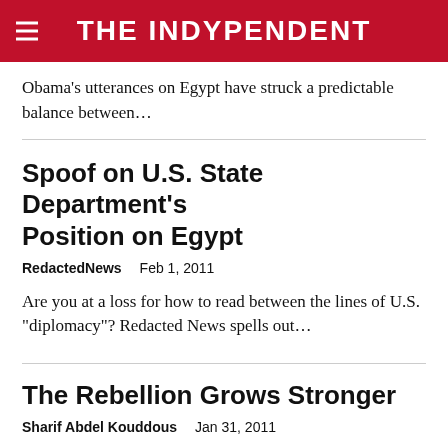THE INDYPENDENT
Obama’s utterances on Egypt have struck a predictable balance between…
Spoof on U.S. State Department’s Position on Egypt
RedactedNews   Feb 1, 2011
Are you at a loss for how to read between the lines of U.S. “diplomacy”? Redacted News spells out…
The Rebellion Grows Stronger
Sharif Abdel Kouddous   Jan 31, 2011
CAIRO—In the second day of defiance of a military